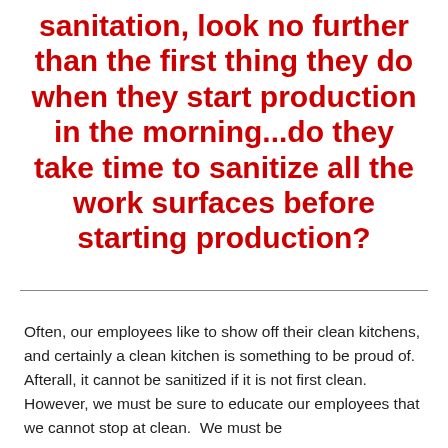sanitation, look no further than the first thing they do when they start production in the morning...do they take time to sanitize all the work surfaces before starting production?
Often, our employees like to show off their clean kitchens, and certainly a clean kitchen is something to be proud of.  Afterall, it cannot be sanitized if it is not first clean. However, we must be sure to educate our employees that we cannot stop at clean.  We must be